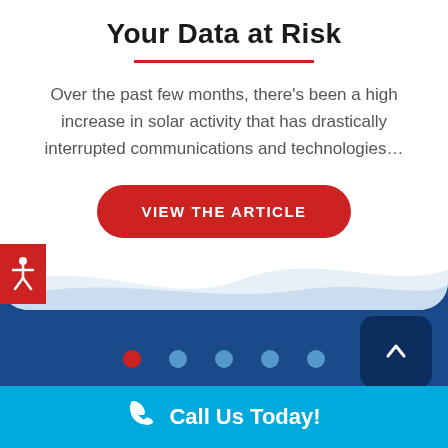Your Data at Risk
Over the past few months, there's been a high increase in solar activity that has drastically interrupted communications and technologies…
[Figure (infographic): Red rounded button labeled VIEW THE ARTICLE]
[Figure (illustration): Accessibility person icon on red square background, top-left]
[Figure (infographic): Scroll-to-top chevron button, dark navy, rounded rectangle, bottom-right]
[Figure (infographic): Pagination dots: 5 dots, first dot is red (active), rest are light blue]
[Figure (infographic): Footer call-to-action bar in cyan/light blue with phone icon and text Call Us Today!]